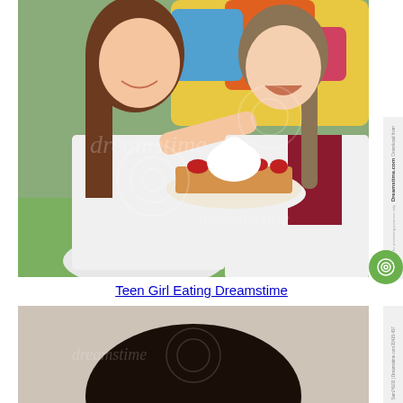[Figure (photo): Two teen girls outdoors at a fair or carnival. One girl with long brown hair in a white t-shirt is feeding the other girl who has braided hair and a white and maroon shirt. The second girl is holding a plate of waffles topped with strawberries and whipped cream. Colorful inflatable structures visible in background. Dreamstime watermark visible.]
Teen Girl Eating Dreamstime
[Figure (photo): Partial view of a person with curly dark hair, cropped at head level. Dreamstime watermark visible on the right side with image ID 30415-437 Sam74100 | Dreamstime.com.]